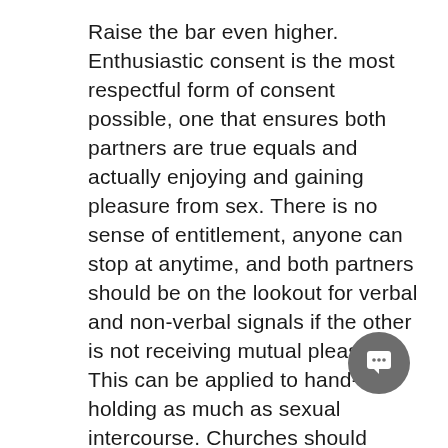Raise the bar even higher. Enthusiastic consent is the most respectful form of consent possible, one that ensures both partners are true equals and actually enjoying and gaining pleasure from sex. There is no sense of entitlement, anyone can stop at anytime, and both partners should be on the lookout for verbal and non-verbal signals if the other is not receiving mutual pleasure. This can be applied to hand-holding as much as sexual intercourse. Churches should explicitly teach that we should always, always, always get affirmative or enthusiastic consent for sex sexual and physically intimate activities, and that consent can be withdrawn at any time for any reason, and we should always honour